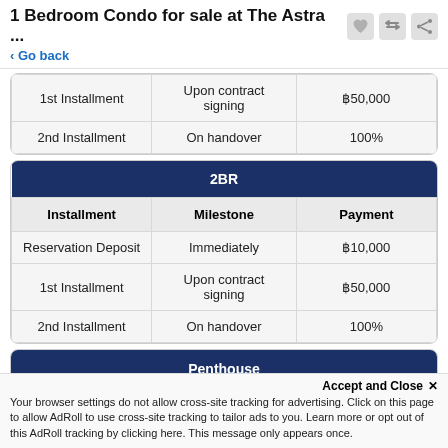1 Bedroom Condo for sale at The Astra ...
< Go back
| Installment | Milestone | Payment |
| --- | --- | --- |
| 1st Installment | Upon contract signing | ฿50,000 |
| 2nd Installment | On handover | 100% |
2BR
| Installment | Milestone | Payment |
| --- | --- | --- |
| Reservation Deposit | Immediately | ฿10,000 |
| 1st Installment | Upon contract signing | ฿50,000 |
| 2nd Installment | On handover | 100% |
Penthouse
Accept and Close ✕
Your browser settings do not allow cross-site tracking for advertising. Click on this page to allow AdRoll to use cross-site tracking to tailor ads to you. Learn more or opt out of this AdRoll tracking by clicking here. This message only appears once.